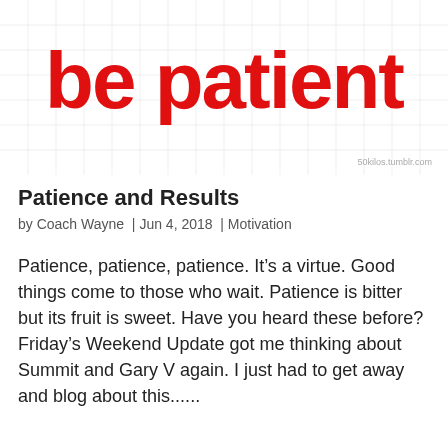[Figure (illustration): Large bold red text 'be patient' on a white grid-lined background with small tumblr credit '50kilos.tumblr.com' in bottom right corner]
Patience and Results
by Coach Wayne  |  Jun 4, 2018  |  Motivation
Patience, patience, patience. It’s a virtue. Good things come to those who wait. Patience is bitter but its fruit is sweet. Have you heard these before? Friday’s Weekend Update got me thinking about Summit and Gary V again. I just had to get away and blog about this......